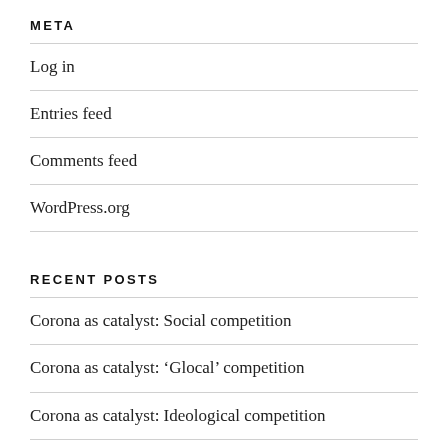META
Log in
Entries feed
Comments feed
WordPress.org
RECENT POSTS
Corona as catalyst: Social competition
Corona as catalyst: ‘Glocal’ competition
Corona as catalyst: Ideological competition
Corona reveals the world’s peculiarities